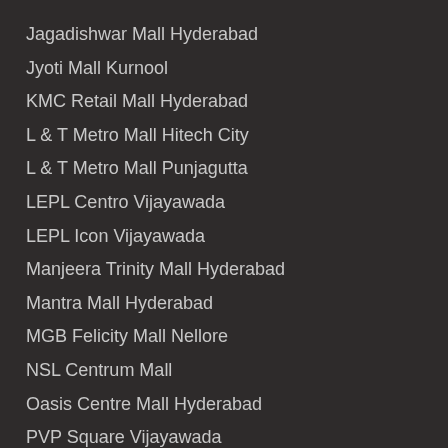Jagadishwar Mall Hyderabad
Jyoti Mall Kurnool
KMC Retail Mall Hyderabad
L & T Metro Mall Hitech City
L & T Metro Mall Punjagutta
LEPL Centro Vijayawada
LEPL Icon Vijayawada
Manjeera Trinity Mall Hyderabad
Mantra Mall Hyderabad
MGB Felicity Mall Nellore
NSL Centrum Mall
Oasis Centre Mall Hyderabad
PVP Square Vijayawada
Ripples Mall Vijayawada
Sarath City Capital Mall Hyderabad